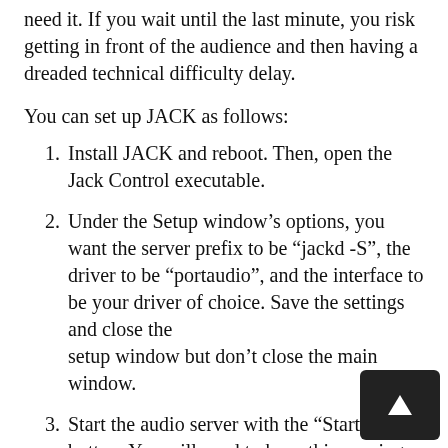need it. If you wait until the last minute, you risk getting in front of the audience and then having a dreaded technical difficulty delay.
You can set up JACK as follows:
Install JACK and reboot. Then, open the Jack Control executable.
Under the Setup window’s options, you want the server prefix to be “jackd -S”, the driver to be “portaudio”, and the interface to be your driver of choice. Save the settings and close the setup window but don’t close the main window.
Start the audio server with the “Start” button. You will need to keep this running while you use your soft-synth. Your synth may crash if JACK is closed before the synth is. If JACK crashes or gives an error when you try to start the server, check that there are no other